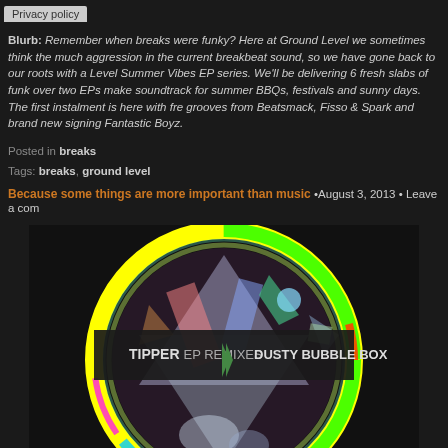Privacy policy
Blurb: Remember when breaks were funky? Here at Ground Level we sometimes think there is too much aggression in the current breakbeat sound, so we have gone back to our roots with a Ground Level Summer Vibes EP series. We'll be delivering 6 fresh slabs of funk over two EPs making the perfect soundtrack for summer BBQs, festivals and sunny days. The first instalment is here with fresh grooves from Beatsmack, Fisso & Spark and brand new signing Fantastic Boyz.
Posted in breaks
Tags: breaks, ground level
Because some things are more important than music •August 3, 2013 • Leave a comment
[Figure (illustration): Circular album artwork for TIPPER EP REMIXES - DUSTY BUBBLE BOX, featuring a colorful rainbow-ringed disc with abstract geometric shapes and a dark banner across the middle with the text.]